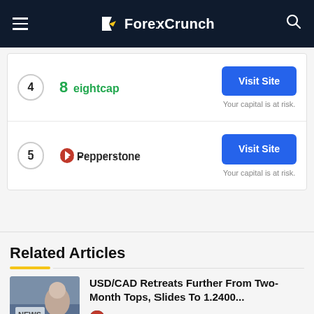ForexCrunch
| Rank | Broker | Action |
| --- | --- | --- |
| 4 | 8 eightcap | Visit Site | Your capital is at risk. |
| 5 | Pepperstone | Visit Site | Your capital is at risk. |
Related Articles
[Figure (photo): Thumbnail of a person holding a newspaper with NEWS text visible]
USD/CAD Retreats Further From Two-Month Tops, Slides To 1.2400...
FX Street • 1 year